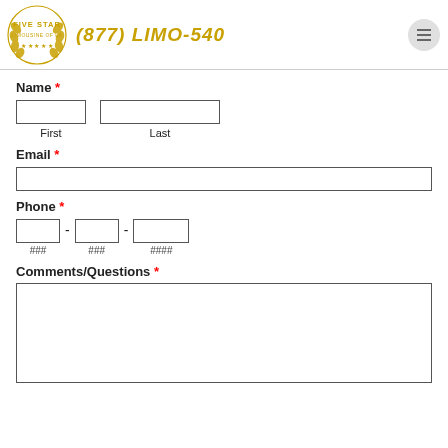[Figure (logo): Five Star Limousine of LA logo with laurel wreath and five stars, gold color]
(877) LIMO-540
Name *
First
Last
Email *
Phone *
### ### ####
Comments/Questions *